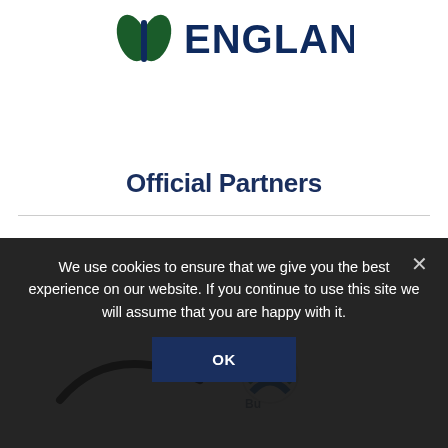[Figure (logo): England Rugby / RFU logo: two green leaf shapes flanking a stylized figure, with bold dark blue text 'ENGLAND' to the right]
Official Partners
[Figure (logo): Partially visible partner logos row at the bottom of the white area, including what appears to be a Nike swoosh logo and a colorful circular Bupa-style logo]
We use cookies to ensure that we give you the best experience on our website. If you continue to use this site we will assume that you are happy with it.
OK